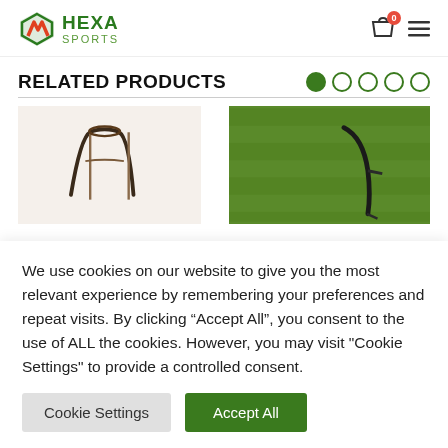[Figure (logo): Hexa Sports logo with green hexagon icon and green text]
RELATED PRODUCTS
[Figure (photo): Two product images: left shows a black wire sports goal frame on white background; right shows a black wire goal on green grass from aerial view]
We use cookies on our website to give you the most relevant experience by remembering your preferences and repeat visits. By clicking “Accept All”, you consent to the use of ALL the cookies. However, you may visit "Cookie Settings" to provide a controlled consent.